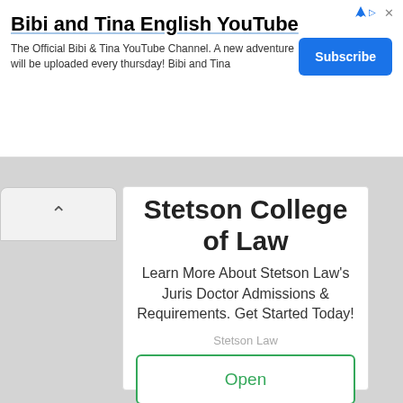Bibi and Tina English YouTube
The Official Bibi & Tina YouTube Channel. A new adventure will be uploaded every thursday! Bibi and Tina
Stetson College of Law
Learn More About Stetson Law's Juris Doctor Admissions & Requirements. Get Started Today!
Stetson Law
Open